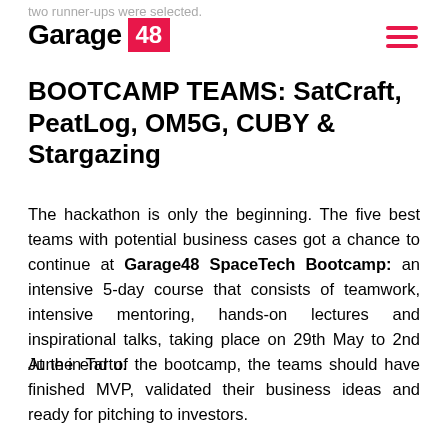two runner-ups were selected.
[Figure (logo): Garage 48 logo with red square containing '48']
BOOTCAMP TEAMS: SatCraft, PeatLog, OM5G, CUBY & Stargazing
The hackathon is only the beginning. The five best teams with potential business cases got a chance to continue at Garage48 SpaceTech Bootcamp: an intensive 5-day course that consists of teamwork, intensive mentoring, hands-on lectures and inspirational talks, taking place on 29th May to 2nd June in Tartu.
At the end of the bootcamp, the teams should have finished MVP, validated their business ideas and ready for pitching to investors.